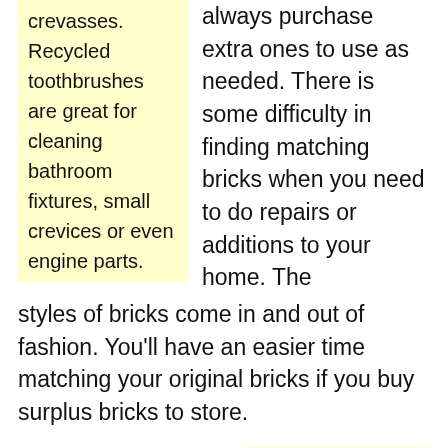crevasses. Recycled toothbrushes are great for cleaning bathroom fixtures, small crevices or even engine parts.
always purchase extra ones to use as needed. There is some difficulty in finding matching bricks when you need to do repairs or additions to your home. The styles of bricks come in and out of fashion. You'll have an easier time matching your original bricks if you buy surplus bricks to store.
The first step of any interior painting job is to clean the relevant surfaces. You can use damp rags to get dust, oil, and dirt off of your walls and their woodwork. That will help the paint stick better and may help you avoid the need for a second coat.
TIP! Make sure you fix leaky faucets. Small leaks can worsen, and each drip is a waste of water and money.